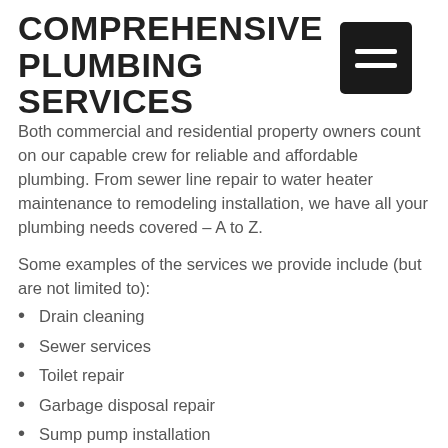COMPREHENSIVE PLUMBING SERVICES
Both commercial and residential property owners count on our capable crew for reliable and affordable plumbing. From sewer line repair to water heater maintenance to remodeling installation, we have all your plumbing needs covered – A to Z.
Some examples of the services we provide include (but are not limited to):
Drain cleaning
Sewer services
Toilet repair
Garbage disposal repair
Sump pump installation
And more